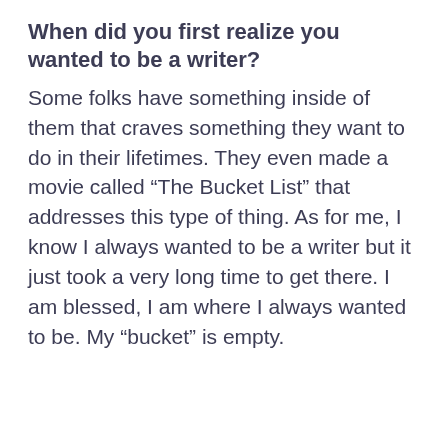When did you first realize you wanted to be a writer?
Some folks have something inside of them that craves something they want to do in their lifetimes. They even made a movie called “The Bucket List” that addresses this type of thing. As for me, I know I always wanted to be a writer but it just took a very long time to get there. I am blessed, I am where I always wanted to be. My “bucket” is empty.